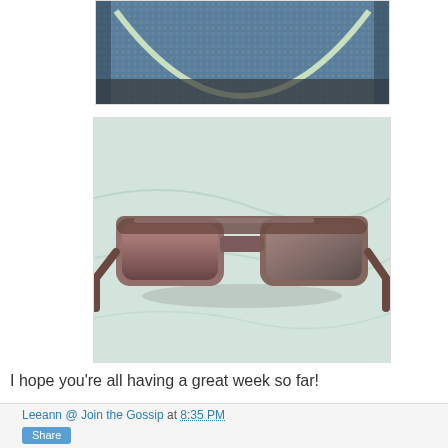[Figure (photo): Partial view of a blue beaded/sequined circular item on dark fabric background]
[Figure (photo): Brown tortoiseshell sunglasses lying flat on a white/light fabric surface]
I hope you're all having a great week so far!
Leeann @ Join the Gossip at 8:35 PM
Share